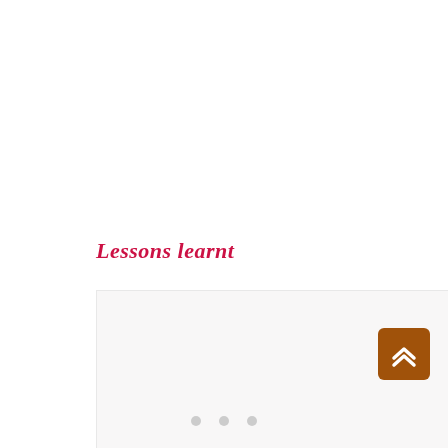Lessons learnt
[Figure (other): Light grey content box area below the Lessons learnt heading, partially visible]
[Figure (other): Orange/brown scroll-to-top button with double chevron up arrow icon, positioned bottom right]
[Figure (other): Three grey pagination dots centered at bottom of page]